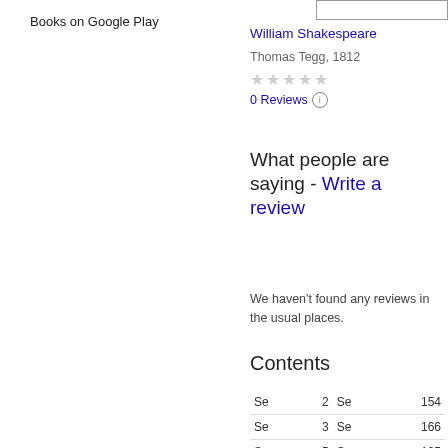Books on Google Play
William Shakespeare
Thomas Tegg, 1812
★★★★★
0 Reviews ⓘ
What people are saying - Write a review
We haven't found any reviews in the usual places.
Contents
| Se |  | Se |  |
| --- | --- | --- | --- |
| Se | 2 | Se | 154 |
| Se | 3 | Se | 166 |
| Se | 5 | Se | 195 |